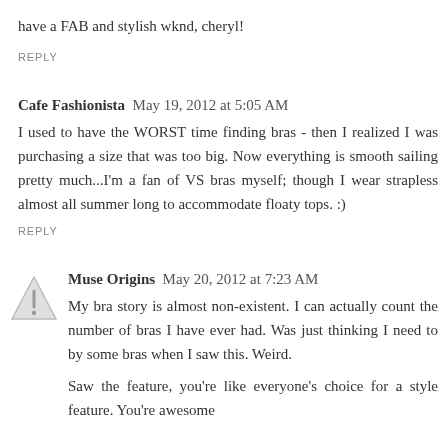have a FAB and stylish wknd, cheryl!
REPLY
Cafe Fashionista  May 19, 2012 at 5:05 AM
I used to have the WORST time finding bras - then I realized I was purchasing a size that was too big. Now everything is smooth sailing pretty much...I'm a fan of VS bras myself; though I wear strapless almost all summer long to accommodate floaty tops. :)
REPLY
Muse Origins  May 20, 2012 at 7:23 AM
My bra story is almost non-existent. I can actually count the number of bras I have ever had. Was just thinking I need to by some bras when I saw this. Weird.
Saw the feature, you're like everyone's choice for a style feature. You're awesome